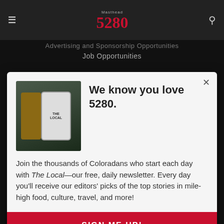Masthead 5280
Advertising and Sponsorship Opportunities
Job Opportunities
[Figure (screenshot): Modal popup on 5280 magazine website. Shows phone held in hand displaying The Local newsletter. Title: 'We know you love 5280.' Body text: 'Join the thousands of Coloradans who start each day with The Local—our free, daily newsletter. Every day you'll receive our editors' picks of the top stories in mile-high food, culture, travel, and more!' Button: 'SIGN ME UP!']
Suite 675
Denver, CO 80202
Phone: 303-832-5280
Fax: 303-832-0470